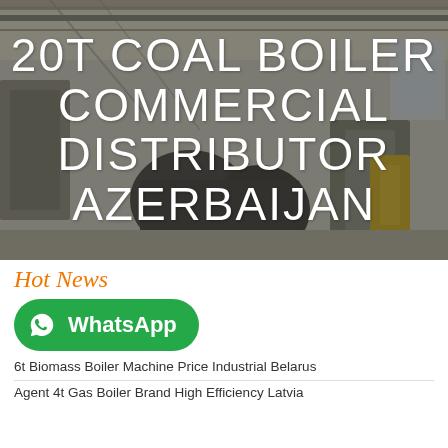[Figure (photo): Industrial boiler manufacturing facility interior with large equipment and overhead cranes, overlaid with white text title '20T COAL BOILER COMMERCIAL DISTRIBUTOR AZERBAIJAN']
20T COAL BOILER COMMERCIAL DISTRIBUTOR AZERBAIJAN
Hot News
[Figure (logo): WhatsApp green button with phone icon and text 'WhatsApp']
6t Biomass Boiler Machine Price Industrial Belarus
Agent 4t Gas Boiler Brand High Efficiency Latvia